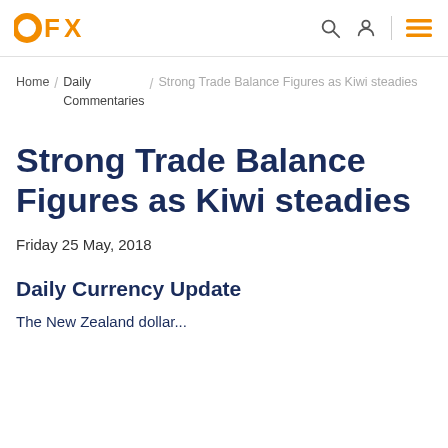OFX
Home / Daily Commentaries / Strong Trade Balance Figures as Kiwi steadies
Strong Trade Balance Figures as Kiwi steadies
Friday 25 May, 2018
Daily Currency Update
The New Zealand dollar...